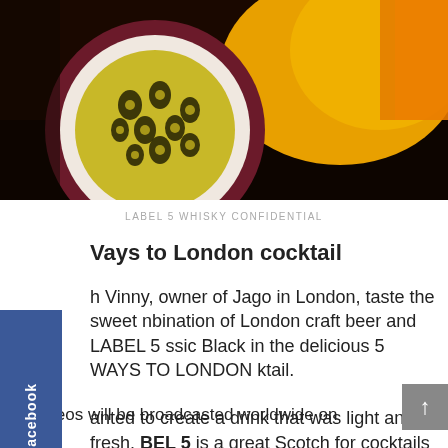[Figure (photo): Close-up photo of passion fruit cut open showing seeds and yellow mango or citrus fruit in background, dark moody background]
LABEL 5 WHISKY CONFIDENTIAL
Ways to London cocktail
h Vinny, owner of Jago in London, taste the sweet nbination of London craft beer and LABEL 5 ssic Black in the delicious 5 WAYS TO LONDON ktail.

anted to create a drink that was light and fresh. BEL 5 is a great Scotch for cocktails as it has a well-balanced and complex flavour which enables you to work with different notes."
The videos will be broadcasted worldwide on Youtube